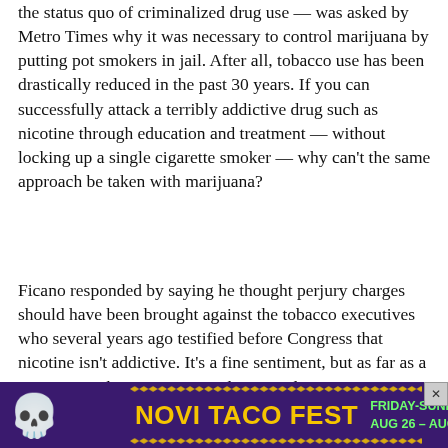the status quo of criminalized drug use — was asked by Metro Times why it was necessary to control marijuana by putting pot smokers in jail. After all, tobacco use has been drastically reduced in the past 30 years. If you can successfully attack a terribly addictive drug such as nicotine through education and treatment — without locking up a single cigarette smoker — why can't the same approach be taken with marijuana?
Ficano responded by saying he thought perjury charges should have been brought against the tobacco executives who several years ago testified before Congress that nicotine isn't addictive. It's a fine sentiment, but as far as a response to the question posed, a virtual non sequitur. So he was asked the same thing again. His response the second time around was that not all pot smokers end up incarcerated. Certainly true, but it's equally true that
[Figure (other): Advertisement banner for Novi Taco Fest, Friday-Sunday Aug 26 - Aug 28, with purple background, yellow text, sugar skull graphic, and green date text]